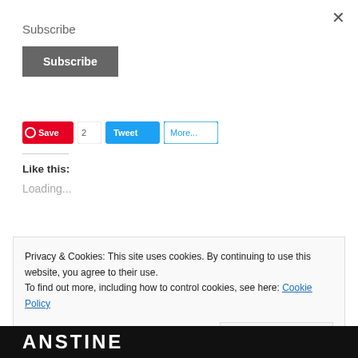Subscribe
Subscribe
[Figure (screenshot): Social sharing buttons: Save (Pinterest, red), Like (Facebook), Tweet (Twitter, blue), More (outlined blue)]
Like this:
Loading...
Privacy & Cookies: This site uses cookies. By continuing to use this website, you agree to their use.
To find out more, including how to control cookies, see here: Cookie Policy
Close and accept
ANSTINE